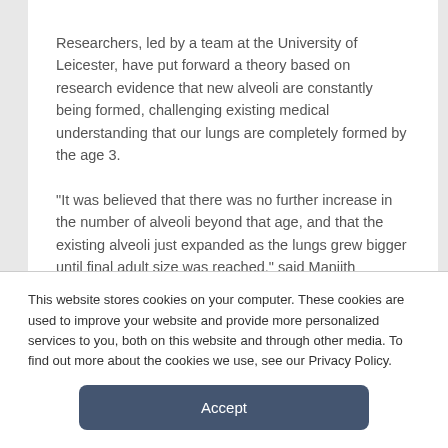Researchers, led by a team at the University of Leicester, have put forward a theory based on research evidence that new alveoli are constantly being formed, challenging existing medical understanding that our lungs are completely formed by the age 3.
“It was believed that there was no further increase in the number of alveoli beyond that age, and that the existing alveoli just expanded as the lungs grew bigger until final adult size was reached,” said Manjith Narayanan, one of the study leaders from Leicester. “Our study challenged this by suggesting that new alveoli continue to be formed as the lung grow.”
This website stores cookies on your computer. These cookies are used to improve your website and provide more personalized services to you, both on this website and through other media. To find out more about the cookies we use, see our Privacy Policy.